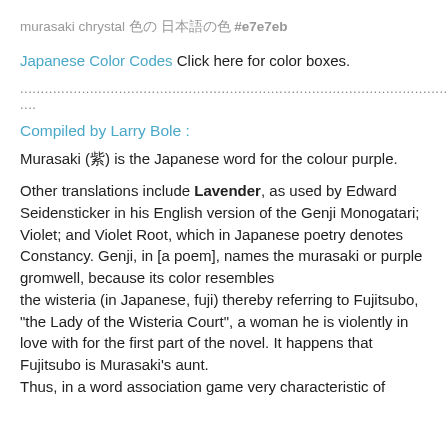murasaki chrystal 色の 日本語の色 #e7e7eb
Japanese Color Codes Click here for color boxes.
....................................................................................................
Compiled by Larry Bole :
Murasaki (紫) is the Japanese word for the colour purple.
Other translations include Lavender, as used by Edward Seidensticker in his English version of the Genji Monogatari; Violet; and Violet Root, which in Japanese poetry denotes Constancy. Genji, in [a poem], names the murasaki or purple gromwell, because its color resembles the wisteria (in Japanese, fuji) thereby referring to Fujitsubo, "the Lady of the Wisteria Court", a woman he is violently in love with for the first part of the novel. It happens that Fujitsubo is Murasaki's aunt. Thus, in a word association game very characteristic of